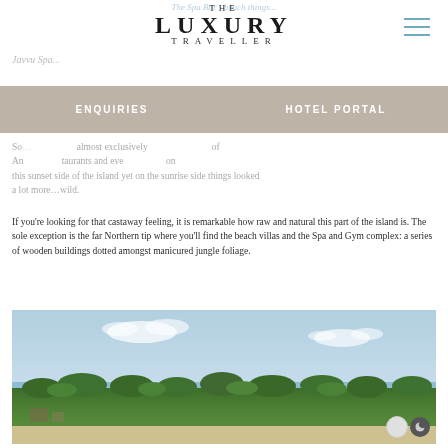THE LUXURY TRAVELLER
So... almost exclusively... of An... taurants and eve... on this sunset side of the island yet on the sunrise side things looked a lot more…wild.
If you're looking for that castaway feeling, it is remarkable how raw and natural this part of the island is. The sole exception is the far Northern tip where you'll find the beach villas and the Spa and Gym complex: a series of wooden buildings dotted amongst manicured jungle foliage.
[Figure (photo): Aerial photo of a tropical island showing blue sky with clouds, ocean, dense green jungle/palm tree canopy, and a sandy beach at the bottom.]